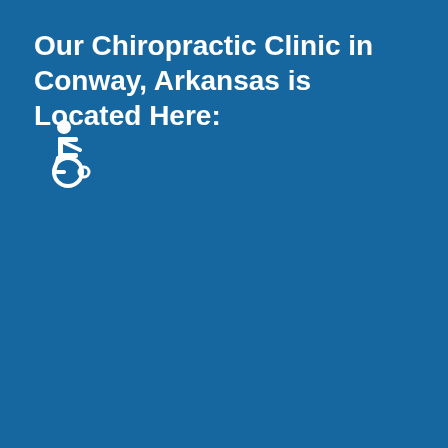Our Chiropractic Clinic in Conway, Arkansas is Located Here:
[Figure (illustration): Wheelchair accessibility symbol icon in white on blue background]